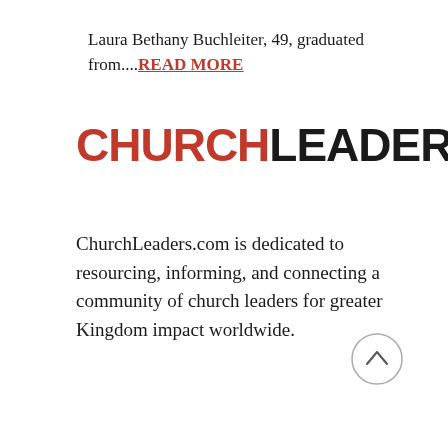Laura Bethany Buchleiter, 49, graduated from....READ MORE
[Figure (logo): ChurchLeaders logo — CHURCH in red, LEADERS in black, bold sans-serif]
ChurchLeaders.com is dedicated to resourcing, informing, and connecting a community of church leaders for greater Kingdom impact worldwide.
[Figure (other): Scroll-to-top button: circle with upward chevron (^)]